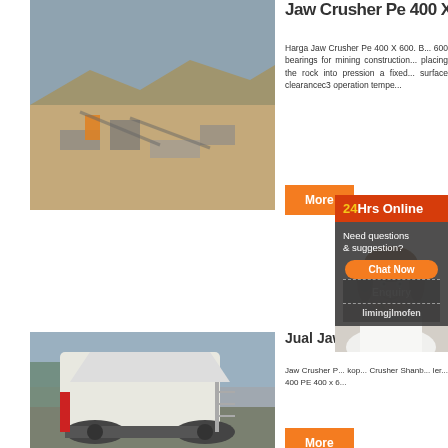[Figure (photo): Aerial view of a mining/quarry site with heavy equipment, conveyors, and dust, set in a rocky landscape]
Jaw Crusher Pe 400 X 6...
Harga Jaw Crusher Pe 400 X 600. B... 600 bearings for mining construction... placing the rock into pression a fixed... surface clearancec3 operation tempe...
[Figure (photo): Customer service representative woman with headset smiling, with 24Hrs Online chat overlay panel]
[Figure (photo): Large white jaw crusher machine on tracks at a job site]
Jual Jaw C...  25...
Jaw Crusher P... kop... Crusher Shanb... ler... 400 PE 400 x 6...